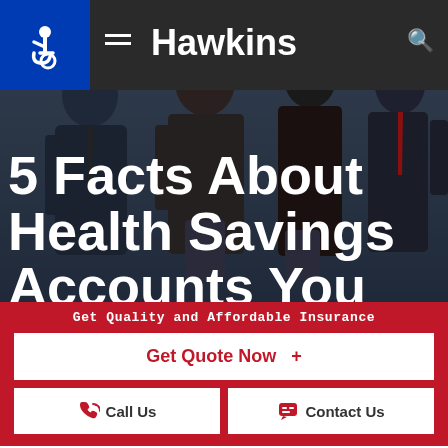Hawkins
[Figure (photo): Three business professionals in suits photographed from a low angle against a dark background, with a dark blue overlay.]
5 Facts About Health Savings Accounts You Need To Know!
Get Quality and Affordable Insurance
Get Quote Now  +
Call Us
Contact Us